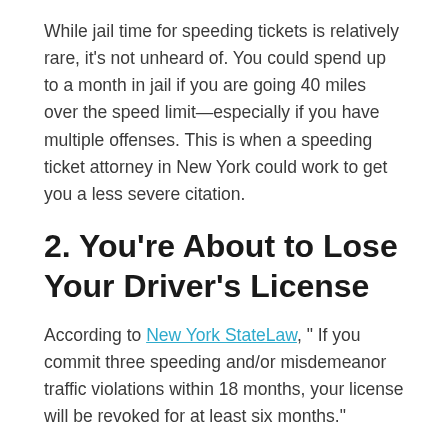While jail time for speeding tickets is relatively rare, it's not unheard of. You could spend up to a month in jail if you are going 40 miles over the speed limit—especially if you have multiple offenses. This is when a speeding ticket attorney in New York could work to get you a less severe citation.
2. You're About to Lose Your Driver's License
According to New York StateLaw, " If you commit three speeding and/or misdemeanor traffic violations within 18 months, your license will be revoked for at least six months."
There are a few stipulations that dictate whether or not your license will be suspended or revoked for a set period of time. You might lose your driver's license for the